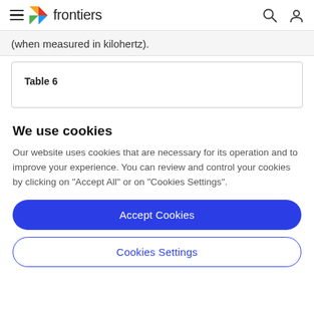frontiers
(when measured in kilohertz).
We use cookies
Our website uses cookies that are necessary for its operation and to improve your experience. You can review and control your cookies by clicking on "Accept All" or on "Cookies Settings".
Accept Cookies
Cookies Settings